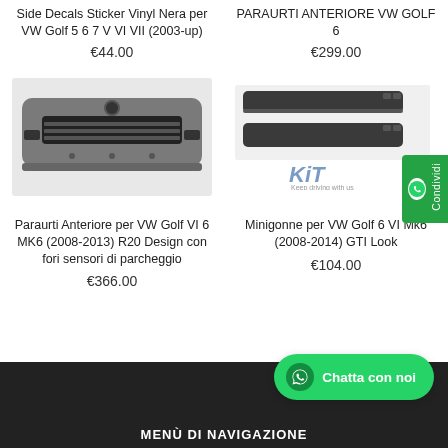Side Decals Sticker Vinyl Nera per VW Golf 5 6 7 V VI VII (2003-up)
€44.00
PARAURTI ANTERIORE VW GOLF 6
€299.00
[Figure (photo): Gray front bumper for VW Golf VI R20 design]
[Figure (photo): Dark side skirts for VW Golf 6 GTI Look with KIT branding]
Paraurti Anteriore per VW Golf VI 6 MK6 (2008-2013) R20 Design con fori sensori di parcheggio
€366.00
Minigonne per VW Golf 6 VI Mk6 (2008-2014) GTI Look
€104.00
MENÙ DI NAVIGAZIONE